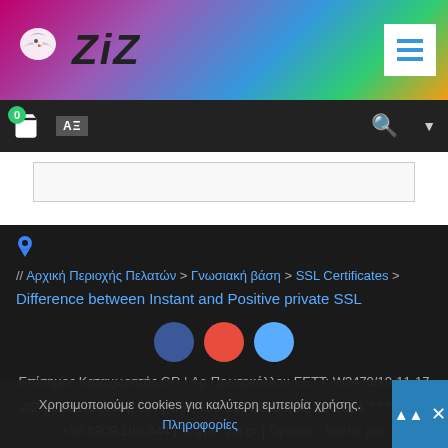[Figure (logo): ZiZ company logo with eagle icon on gradient header background]
ZiZ website header with navigation bar showing cart (0), language selector (AB), search icon, and dropdown
[Figure (screenshot): Search bar area]
[Figure (illustration): Location pin icon in blue]
// Αρχική Περιοχής Πελατών > Γνωσιακή βάση > SSL Certificates > Difference between Instant and Positive private SSL
[Figure (illustration): Three social media circle icons: blue (Facebook), red (Google+/YouTube), light blue (Twitter)]
Επίσημος Καταχωρητής GR | Αρ.Πρωτοκόλλου ΕΕΤΤ: W3470/10-11-17
ZiZ | Θεσσαλονίκη, GR | Τηλ: +30.2394.026.008, +30.694.777.5204, +30.6909.199.844 | Skype: ziz.gr | Ωράριο - Βρείτε μας
Δικαιώματα © 2022 ZiZ | Official Registar for GR Domains.
Χρησιμοποιούμε cookies για καλύτερη εμπειρία χρήσης.
Πληροφορίες